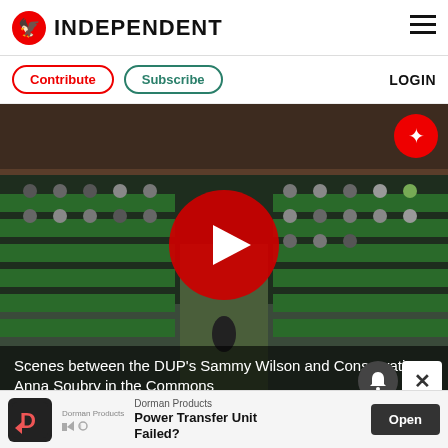INDEPENDENT
Contribute | Subscribe | LOGIN
[Figure (screenshot): Video player showing the interior of the UK House of Commons chamber with green benches and MPs seated, overlaid with a large red circular play button. An Independent logo watermark is visible in the top right corner.]
Scenes between the DUP's Sammy Wilson and Conservative Anna Soubry in the Commons
[Figure (infographic): Advertisement for Dorman Products featuring a 'Power Transfer Unit Failed?' message with an Open button]